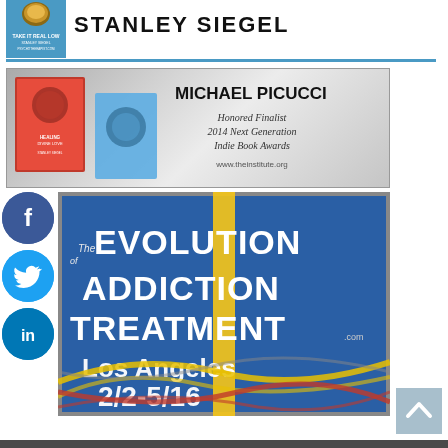[Figure (logo): Stanley Siegel website header with logo image on left and name on right]
[Figure (illustration): Michael Picucci banner: books cover images on left, gray gradient background, text 'MICHAEL PICUCCI Honored Finalist 2014 Next Generation Indie Book Awards www.theinstitute.org']
[Figure (illustration): Facebook social share button - blue circle with white F]
[Figure (illustration): Twitter social share button - blue circle with white bird icon]
[Figure (illustration): LinkedIn social share button - dark blue circle with white 'in']
[Figure (illustration): The Evolution of Addiction Treatment .com Los Angeles 2/2-5/16 banner on blue background with colorful swoosh lines]
[Figure (illustration): Back to top button - gray square with upward chevron]